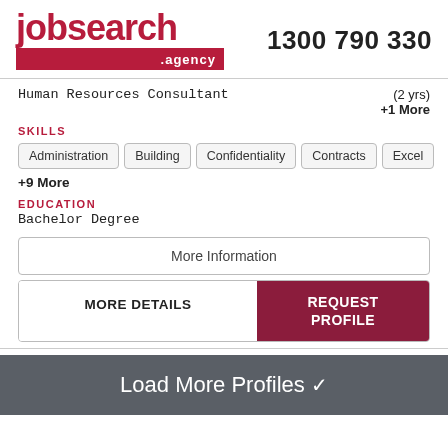[Figure (logo): jobsearch.agency logo with red text and red bar]
1300 790 330
Human Resources Consultant (2 yrs)
+1 More
SKILLS
Administration
Building
Confidentiality
Contracts
Excel
+9 More
EDUCATION
Bachelor Degree
More Information
MORE DETAILS
REQUEST PROFILE
Load More Profiles